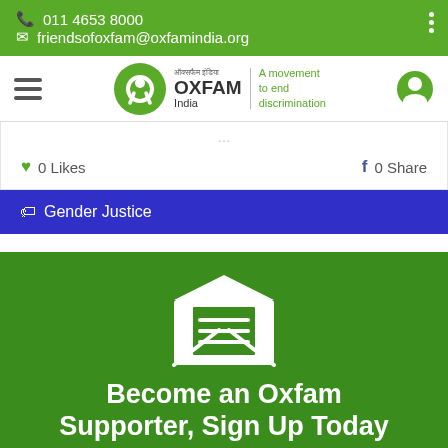011 4653 8000
friendsofoxfam@oxfamindia.org
[Figure (logo): Oxfam India logo with tagline 'A movement to end discrimination']
0 Likes   0 Share
Gender Justice
[Figure (illustration): White envelope icon with letter inside on green background]
Become an Oxfam Supporter, Sign Up Today